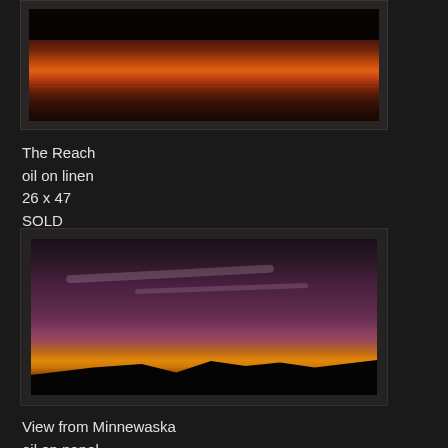[Figure (photo): Painting of a sunset over water with dark tree silhouettes along top and warm orange-red sky reflecting on water below. Title: The Reach.]
The Reach
oil on linen
26 x 47
SOLD
[Figure (photo): Painting of mountain silhouettes at sunset with dramatic purple-grey clouds and golden-orange horizon glow. Title: View from Minnewaska.]
View from Minnewaska
oil on panel
34 x 48